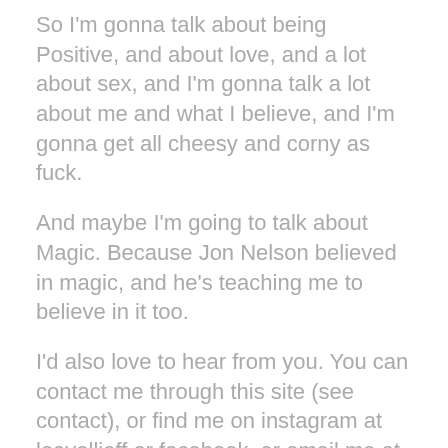So I'm gonna talk about being Positive, and about love, and a lot about sex, and I'm gonna talk a lot about me and what I believe, and I'm gonna get all cheesy and corny as fuck.
And maybe I'm going to talk about Magic. Because Jon Nelson believed in magic, and he's teaching me to believe in it too.
I'd also love to hear from you. You can contact me through this site (see contact), or find me on instagram at leavelljeff or facebook, or email me at jeffleavell@gmail.com. Leave comments. Tell me what you like or don't like.
And keep coming back. I'm gonna be doing this blog thing weekly (or maybe more…I have A LOT to say). It's still a big work in progress, but I promise, there will